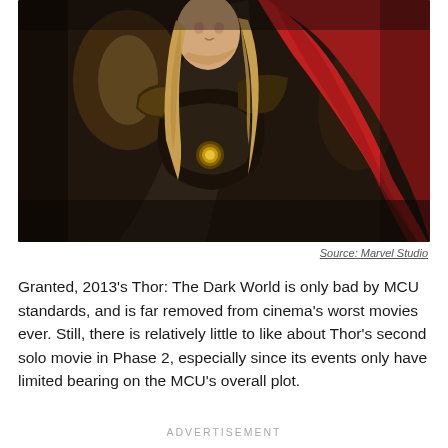[Figure (photo): A movie still from Thor: The Dark World (2013) showing the character Thor in full armor with a red cape, long blonde hair, in a dark cinematic setting.]
Source: Marvel Studio
Granted, 2013's Thor: The Dark World is only bad by MCU standards, and is far removed from cinema's worst movies ever. Still, there is relatively little to like about Thor's second solo movie in Phase 2, especially since its events only have limited bearing on the MCU's overall plot.
ADVERTISEMENT